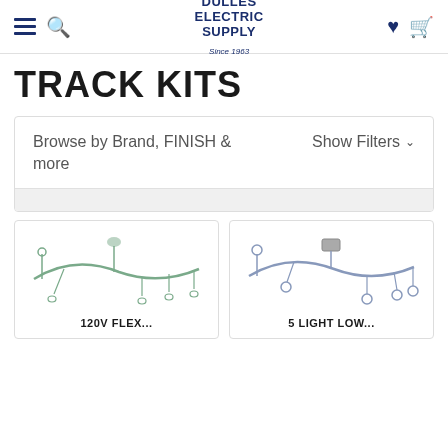DULLES ELECTRIC SUPPLY Since 1963
TRACK KITS
Browse by Brand, FINISH & more   Show Filters
[Figure (photo): Product image of a 120V Flex track kit showing a curved track with multiple pendant lights]
120V FLEX...
[Figure (photo): Product image of a 5 Light Low voltage track kit showing a curved track with globe lights]
5 LIGHT LOW...